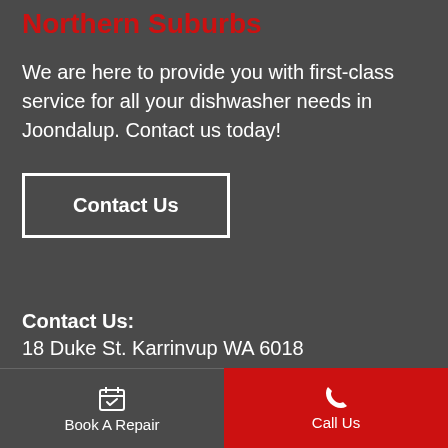Northern Suburbs
We are here to provide you with first-class service for all your dishwasher needs in Joondalup. Contact us today!
Contact Us
Contact Us:
18 Duke St. Karrinvup WA 6018
Book A Repair   Call Us